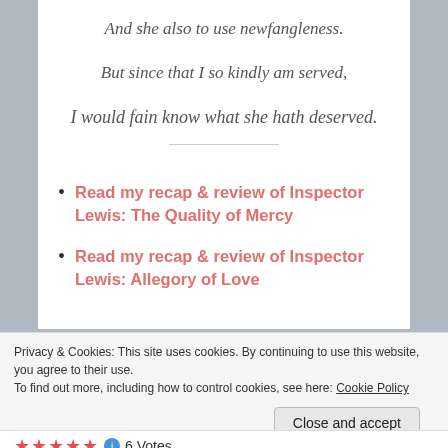And she also to use newfangleness.
But since that I so kindly am served,
I would fain know what she hath deserved.
Read my recap & review of Inspector Lewis: The Quality of Mercy
Read my recap & review of Inspector Lewis: Allegory of Love
Privacy & Cookies: This site uses cookies. By continuing to use this website, you agree to their use.
To find out more, including how to control cookies, see here: Cookie Policy
Close and accept
6 Votes